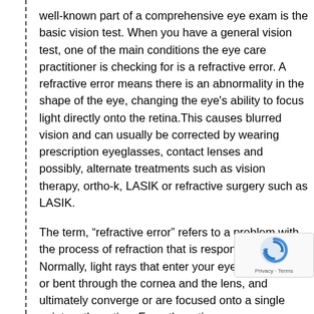well-known part of a comprehensive eye exam is the basic vision test. When you have a general vision test, one of the main conditions the eye care practitioner is checking for is a refractive error. A refractive error means there is an abnormality in the shape of the eye, changing the eye's ability to focus light directly onto the retina.This causes blurred vision and can usually be corrected by wearing prescription eyeglasses, contact lenses and possibly, alternate treatments such as vision therapy, ortho-k, LASIK or refractive surgery such as LASIK.
The term, “refractive error” refers to a problem with the process of refraction that is responsible for sight. Normally, light rays that enter your eye are refracted or bent through the cornea and the lens, and ultimately converge or are focused onto a single point on the retina. From the retina, messages are sent through the optic nerve to the brain which then interprets these signals into the image that we are se…
In order for this process to work effectively, the anato… the eye including the length of the eye and the curvature of